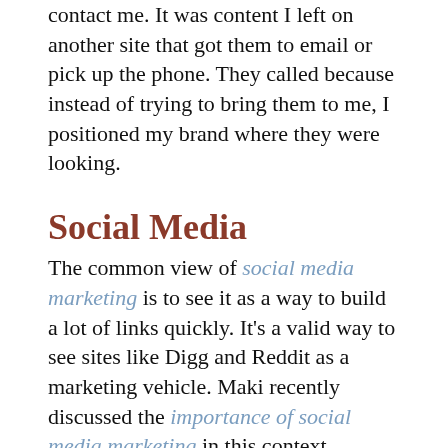contact me. It was content I left on another site that got them to email or pick up the phone. They called because instead of trying to bring them to me, I positioned my brand where they were looking.
Social Media
The common view of social media marketing is to see it as a way to build a lot of links quickly. It’s a valid way to see sites like Digg and Reddit as a marketing vehicle. Maki recently discussed the importance of social media marketing in this context.
If you read through Maki’s posts on DoshDosh you’ll notice his approach to gaining those links is by building a strong profiles and creating a